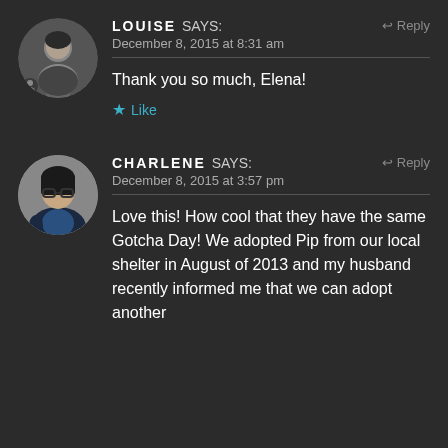[Figure (photo): Circular avatar photo of Louise, black and white portrait of a woman]
LOUISE says:
Reply
December 8, 2015 at 8:31 am
Thank you so much, Elena!
Like
[Figure (photo): Circular avatar photo of Charlene, woman with glasses and dark jacket]
CHARLENE says:
Reply
December 8, 2015 at 3:57 pm
Love this! How cool that they have the same Gotcha Day! We adopted Pip from our local shelter in August of 2013 and my husband recently informed me that we can adopt another